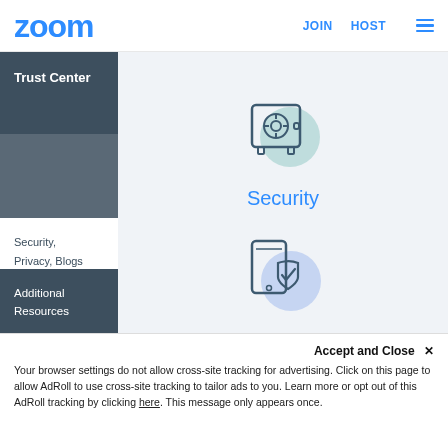[Figure (logo): Zoom logo in blue]
JOIN   HOST
[Figure (illustration): Safe/vault icon with teal circle background representing Security]
Security
Trust Center
Security, Privacy, Blogs
Additional Resources
[Figure (illustration): Phone with shield/checkmark icon with blue circle background representing Privacy]
Privacy
Accept and Close ×
Your browser settings do not allow cross-site tracking for advertising. Click on this page to allow AdRoll to use cross-site tracking to tailor ads to you. Learn more or opt out of this AdRoll tracking by clicking here. This message only appears once.